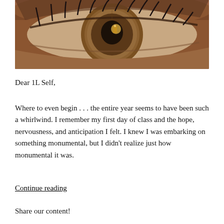[Figure (photo): Extreme close-up macro photograph of a human eye with a brown iris, showing detailed texture of skin and eyelashes, with a reflection visible in the pupil]
Dear 1L Self,
Where to even begin . . . the entire year seems to have been such a whirlwind. I remember my first day of class and the hope, nervousness, and anticipation I felt. I knew I was embarking on something monumental, but I didn't realize just how monumental it was.
Continue reading
Share our content!